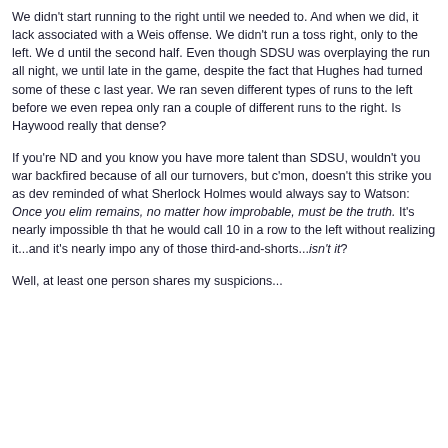We didn't start running to the right until we needed to. And when we did, it lack associated with a Weis offense. We didn't run a toss right, only to the left. We d until the second half. Even though SDSU was overplaying the run all night, we until late in the game, despite the fact that Hughes had turned some of these c last year. We ran seven different types of runs to the left before we even repea only ran a couple of different runs to the right. Is Haywood really that dense?
If you're ND and you know you have more talent than SDSU, wouldn't you war backfired because of all our turnovers, but c'mon, doesn't this strike you as dev reminded of what Sherlock Holmes would always say to Watson: Once you elim remains, no matter how improbable, must be the truth. It's nearly impossible th that he would call 10 in a row to the left without realizing it...and it's nearly impo any of those third-and-shorts...isn't it?
Well, at least one person shares my suspicions...